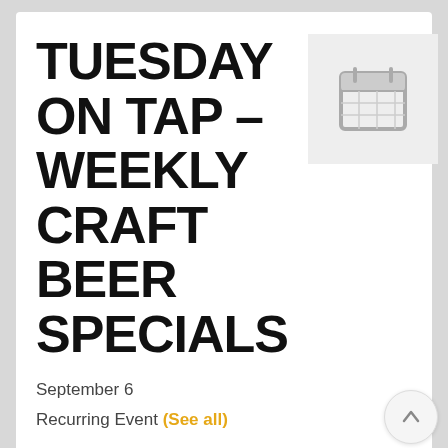TUESDAY ON TAP – WEEKLY CRAFT BEER SPECIALS
September 6
Recurring Event (See all)
WEDNESDAY ON TAP –